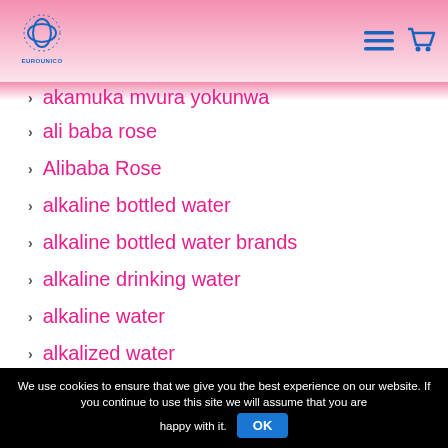EUROUNICO logo with navigation menu and cart icons
akamuka mvura yokunwa
ali baba rose
Alibaba Rose
alkaline bottled water
alkaline bottled water brands
alkaline drinking water
alkaline water
alkalized water
We use cookies to ensure that we give you the best experience on our website. If you continue to use this site we will assume that you are happy with it. OK